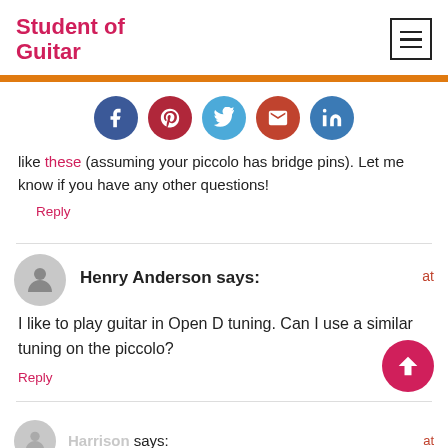Student of Guitar
[Figure (infographic): Social share buttons row: Facebook, Pinterest, Twitter, Email, LinkedIn]
like these (assuming your piccolo has bridge pins). Let me know if you have any other questions!
Reply
Henry Anderson says:
I like to play guitar in Open D tuning. Can I use a similar tuning on the piccolo?
Reply
Harrison says: